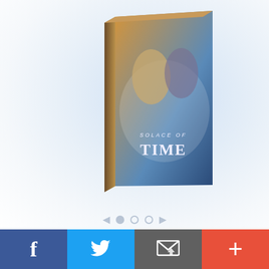[Figure (illustration): Book cover for 'Solace of Time' showing two figures against a fantasy background, displayed as a 3D book. Background has a soft blue-white radial glow with abstract network lines. Navigation dots (one filled, two empty) with left/right arrows below the image.]
And the winners are...
Mirlou
Audrey S.